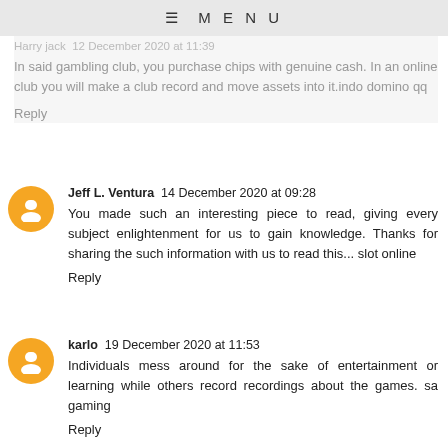≡ MENU
Harry jack  12 December 2020 at 11:39
In said gambling club, you purchase chips with genuine cash. In an online club you will make a club record and move assets into it.indo domino qq
Reply
Jeff L. Ventura  14 December 2020 at 09:28
You made such an interesting piece to read, giving every subject enlightenment for us to gain knowledge. Thanks for sharing the such information with us to read this... slot online
Reply
karlo  19 December 2020 at 11:53
Individuals mess around for the sake of entertainment or learning while others record recordings about the games. sa gaming
Reply